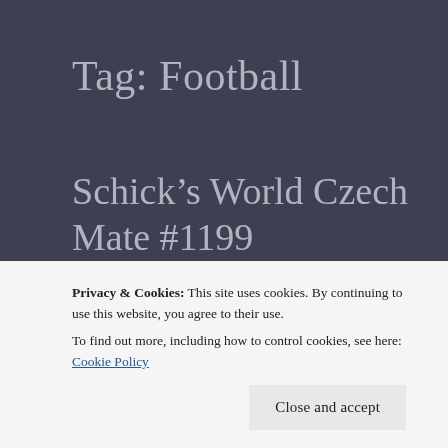Tag: Football
Schick’s World Czech Mate #1199
[Figure (photo): Blurred stadium crowd photo with teal/turquoise objects in foreground, red crowd in background]
Privacy & Cookies: This site uses cookies. By continuing to use this website, you agree to their use.
To find out more, including how to control cookies, see here: Cookie Policy
Close and accept